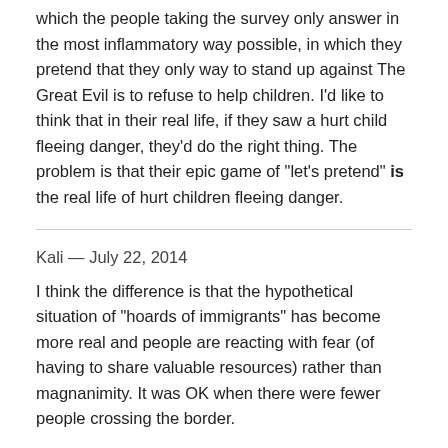which the people taking the survey only answer in the most inflammatory way possible, in which they pretend that they only way to stand up against The Great Evil is to refuse to help children. I'd like to think that in their real life, if they saw a hurt child fleeing danger, they'd do the right thing. The problem is that their epic game of "let's pretend" is the real life of hurt children fleeing danger.
Kali — July 22, 2014
I think the difference is that the hypothetical situation of "hoards of immigrants" has become more real and people are reacting with fear (of having to share valuable resources) rather than magnanimity. It was OK when there were fewer people crossing the border.
Bill R — July 22, 2014
Polls like this aren't worth all that much when they're